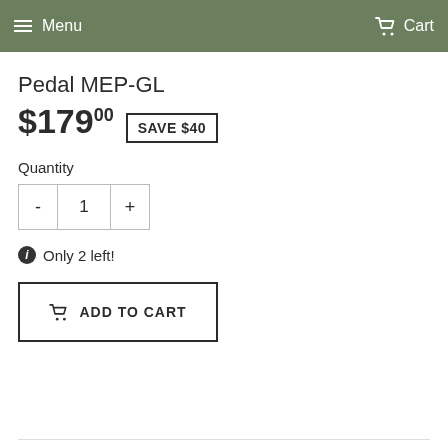Menu   Cart
Pedal MEP-GL
$179.00  SAVE $40
Quantity
- 1 +
Only 2 left!
ADD TO CART